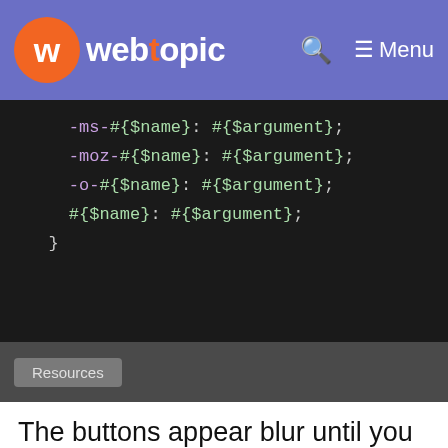webtopic — Menu
[Figure (screenshot): Dark code editor block showing SASS/SCSS mixin output lines: -ms-#{$name}: #{$argument}; -moz-#{$name}: #{$argument}; -o-#{$name}: #{$argument}; #{$name}: #{$argument}; } with a Resources button below]
The buttons appear blur until you hover over them. You have different colors to choose from depending on your liking. The color you choose for the border is the same as the font of the label. Its author Scott Marshall used HTML, CSS, and JS.